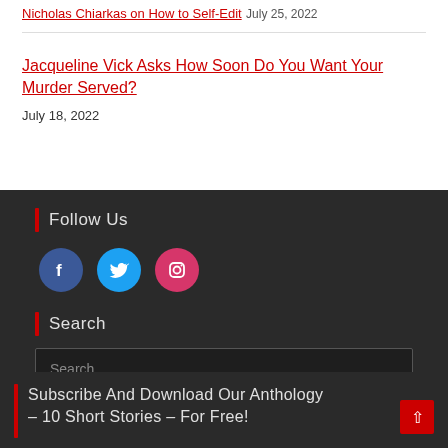Nicholas Chiarkas on How to Self-Edit July 25, 2022
Jacqueline Vick Asks How Soon Do You Want Your Murder Served? July 18, 2022
Follow Us
[Figure (infographic): Three social media icons: Facebook (blue circle), Twitter (light blue circle), Instagram (pink/red circle)]
Search
Search
Subscribe And Download Our Anthology – 10 Short Stories – For Free!